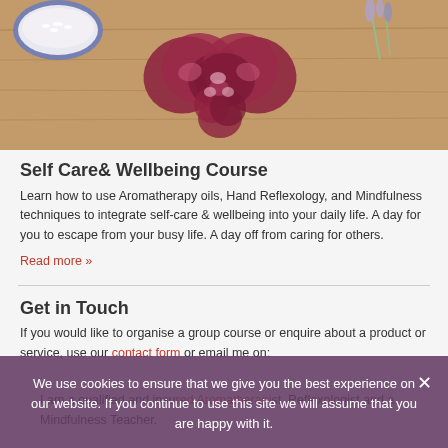[Figure (photo): Overhead view of rose petals arranged in a heart shape on a wooden surface, with a bowl of white material (salt or flowers) and sprigs of lavender]
Self Care& Wellbeing Course
Learn how to use Aromatherapy oils, Hand Reflexology, and Mindfulness techniques to integrate self-care & wellbeing into your daily life. A day for you to escape from your busy life. A day off from caring for others.
Read more »
Get in Touch
If you would like to organise a group course or enquire about a product or service, use our contact form or email me on:
We use cookies to ensure that we give you the best experience on our website. If you continue to use this site we will assume that you are happy with it.
I am a qualified and insured Aromatherapist. Reflexologist and a Mindfulness Teacher.